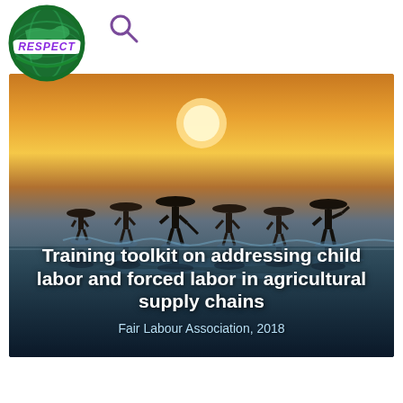[Figure (logo): RESPECT logo — circular green globe design with 'RESPECT' stamp text in purple]
[Figure (other): Search magnifying glass icon]
[Figure (photo): Silhouetted workers with conical hats working in water at sunset/sunrise, golden sky, with reflections in water below]
Training toolkit on addressing child labor and forced labor in agricultural supply chains
Fair Labour Association, 2018